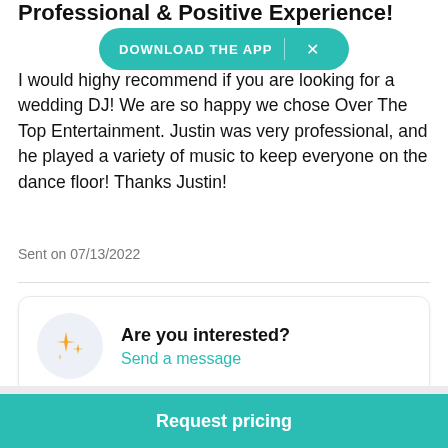Professional & Positive Experience!
[Figure (infographic): Download the app banner with teal background and close button]
I would highly recommend if you are looking for a wedding DJ! We are so happy we chose Over The Top Entertainment. Justin was very professional, and he played a variety of music to keep everyone on the dance floor! Thanks Justin!
Sent on 07/13/2022
Are you interested?
Send a message
Request pricing